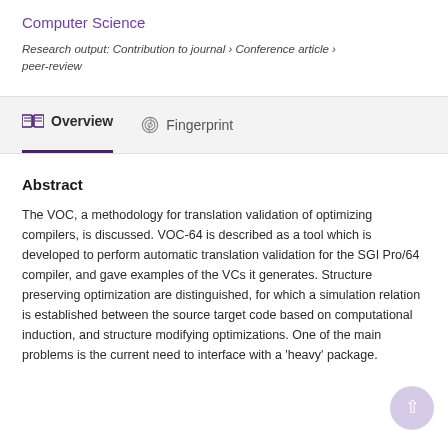Computer Science
Research output: Contribution to journal › Conference article › peer-review
Overview   Fingerprint
Abstract
The VOC, a methodology for translation validation of optimizing compilers, is discussed. VOC-64 is described as a tool which is developed to perform automatic translation validation for the SGI Pro/64 compiler, and gave examples of the VCs it generates. Structure preserving optimization are distinguished, for which a simulation relation is established between the source target code based on computational induction, and structure modifying optimizations. One of the main problems is the current need to interface with a 'heavy' package.